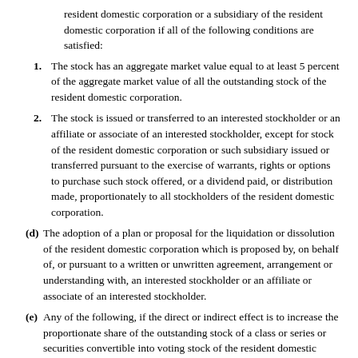resident domestic corporation or a subsidiary of the resident domestic corporation if all of the following conditions are satisfied:
1. The stock has an aggregate market value equal to at least 5 percent of the aggregate market value of all the outstanding stock of the resident domestic corporation.
2. The stock is issued or transferred to an interested stockholder or an affiliate or associate of an interested stockholder, except for stock of the resident domestic corporation or such subsidiary issued or transferred pursuant to the exercise of warrants, rights or options to purchase such stock offered, or a dividend paid, or distribution made, proportionately to all stockholders of the resident domestic corporation.
(d) The adoption of a plan or proposal for the liquidation or dissolution of the resident domestic corporation which is proposed by, on behalf of, or pursuant to a written or unwritten agreement, arrangement or understanding with, an interested stockholder or an affiliate or associate of an interested stockholder.
(e) Any of the following, if the direct or indirect effect is to increase the proportionate share of the outstanding stock of a class or series or securities convertible into voting stock of the resident domestic corporation or a subsidiary of the resident domestic corporation beneficially owned by the interested stockholder or an affiliate or associate of the